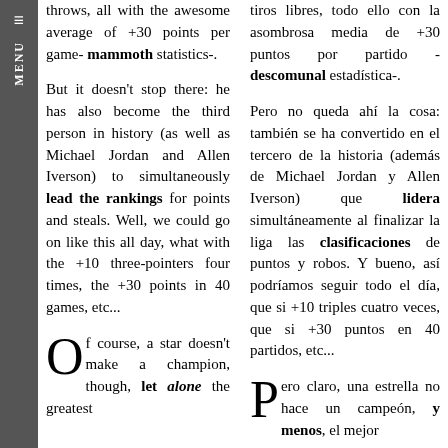≡ MENU
throws, all with the awesome average of +30 points per game- mammoth statistics-.
tiros libres, todo ello con la asombrosa media de +30 puntos por partido - descomunal estadística-.
But it doesn't stop there: he has also become the third person in history (as well as Michael Jordan and Allen Iverson) to simultaneously lead the rankings for points and steals. Well, we could go on like this all day, what with the +10 three-pointers four times, the +30 points in 40 games, etc...
Pero no queda ahí la cosa: también se ha convertido en el tercero de la historia (además de Michael Jordan y Allen Iverson) que lidera simultáneamente al finalizar la liga las clasificaciones de puntos y robos. Y bueno, así podríamos seguir todo el día, que si +10 triples cuatro veces, que si +30 puntos en 40 partidos, etc...
Of course, a star doesn't make a champion, though, let alone the greatest
Pero claro, una estrella no hace un campeón, y menos, el mejor campeón de la historia: